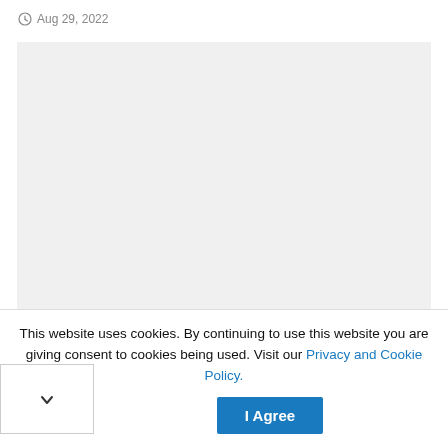Aug 29, 2022
[Figure (photo): Large light gray placeholder image area with a 'FREESTATE' blue badge label in the bottom-left corner]
This website uses cookies. By continuing to use this website you are giving consent to cookies being used. Visit our Privacy and Cookie Policy.
I Agree